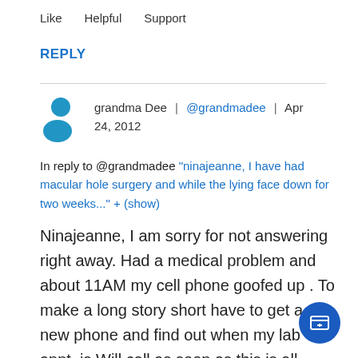Like   Helpful   Support
REPLY
grandma Dee | @grandmadee | Apr 24, 2012
In reply to @grandmadee "ninajeanne, I have had macular hole surgery and while the lying face down for two weeks..." + (show)
Ninajeanne, I am sorry for not answering right away. Had a medical problem and about 11AM my cell phone goofed up . To make a long story short have to get a new phone and find out when my lab appt. is Will call as soon as this is all straightened out. Hope you are doing alright in the